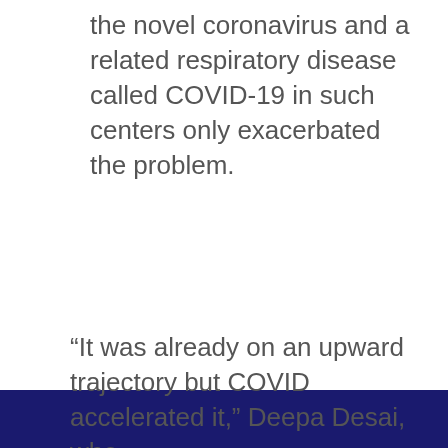the novel coronavirus and a related respiratory disease called COVID-19 in such centers only exacerbated the problem.
“It was already on an upward trajectory but COVID accelerated it,” Deepa Desai, who